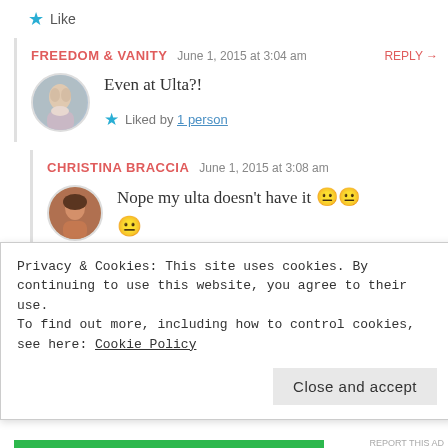★ Like
FREEDOM & VANITY  June 1, 2015 at 3:04 am  REPLY →
Even at Ulta?!
★ Liked by 1 person
CHRISTINA BRACCIA  June 1, 2015 at 3:08 am
Nope my ulta doesn't have it 😐😐
Privacy & Cookies: This site uses cookies. By continuing to use this website, you agree to their use.
To find out more, including how to control cookies, see here: Cookie Policy
Close and accept